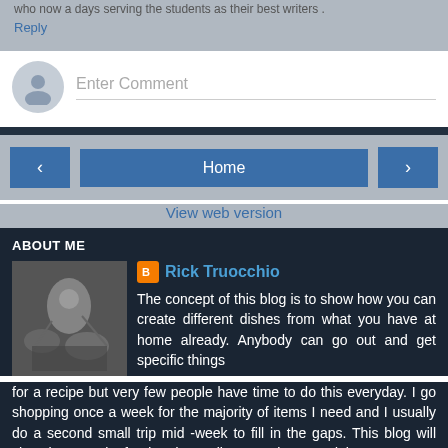who now a days serving the students as their best writers .
Reply
Enter Comment
Home
View web version
ABOUT ME
Rick Truocchio
The concept of this blog is to show how you can create different dishes from what you have at home already. Anybody can go out and get specific things for a recipe but very few people have time to do this everyday. I go shopping once a week for the majority of items I need and I usually do a second small trip mid -week to fill in the gaps. This blog will show how I make food and complimentary items and then reuse